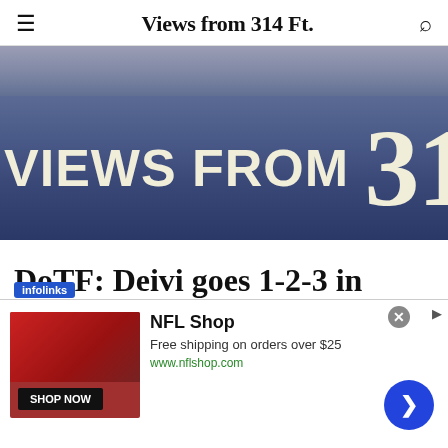Views from 314 Ft.
[Figure (photo): Hero banner image showing blue stadium scoreboard tiles with text 'VIEWS FROM 314 FT.' in large cream/off-white bold letters on a blue background]
DoTF: Deivi goes 1-2-3 in Futures Game, gets moted
[Figure (screenshot): Advertisement overlay: infolinks badge, NFL Shop ad with red jersey image, 'Free shipping on orders over $25', www.nflshop.com, SHOP NOW button, blue arrow CTA button, and close X button]